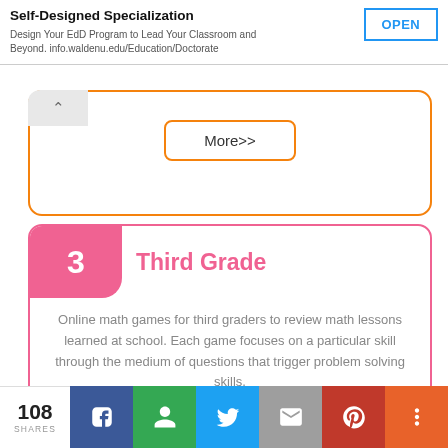[Figure (screenshot): Ad banner for Walden University EdD program with OPEN button]
[Figure (screenshot): Orange bordered card with More>> button (partially collapsed)]
3 Third Grade
Online math games for third graders to review math lessons learned at school. Each game focuses on a particular skill through the medium of questions that trigger problem solving skills.
[Figure (screenshot): More>> button inside pink Third Grade card]
[Figure (infographic): Social share bar with 108 SHARES, Facebook, Google+, Twitter, Email, Pinterest, and More buttons]